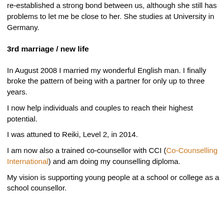re-established a strong bond between us, although she still has problems to let me be close to her. She studies at University in Germany.
3rd marriage / new life
In August 2008 I married my wonderful English man. I finally broke the pattern of being with a partner for only up to three years.
I now help individuals and couples to reach their highest potential.
I was attuned to Reiki, Level 2, in 2014.
I am now also a trained co-counsellor with CCI (Co-Counselling International) and am doing my counselling diploma.
My vision is supporting young people at a school or college as a school counsellor.